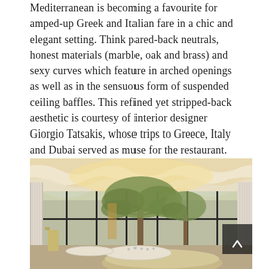Mediterranean is becoming a favourite for amped-up Greek and Italian fare in a chic and elegant setting. Think pared-back neutrals, honest materials (marble, oak and brass) and sexy curves which feature in arched openings as well as in the sensuous form of suspended ceiling baffles. This refined yet stripped-back aesthetic is courtesy of interior designer Giorgio Tatsakis, whose trips to Greece, Italy and Dubai served as muse for the restaurant.
[Figure (photo): Interior of a Mediterranean restaurant featuring large decorative olive trees, white fluted columns, wavy cream ceiling baffles with warm lighting, floor-to-ceiling black-framed windows, and elegantly set dining tables with upholstered seating.]